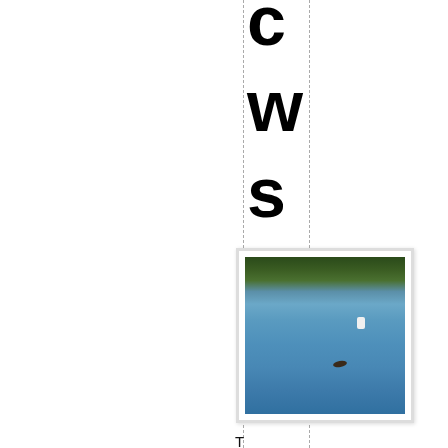...ws
[Figure (photo): A beaver or similar animal swimming in a lake or river, with trees visible in the background and a white buoy or marker visible on the water surface.]
The beautiful Dumas Chr...